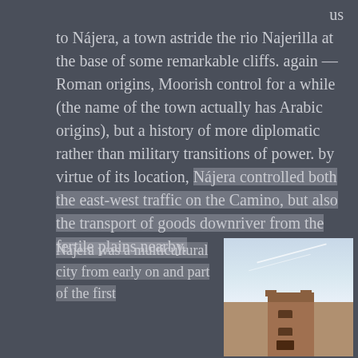us to Nájera, a town astride the rio Najerilla at the base of some remarkable cliffs. again — Roman origins, Moorish control for a while (the name of the town actually has Arabic origins), but a history of more diplomatic rather than military transitions of power. by virtue of its location, Nájera controlled both the east-west traffic on the Camino, but also the transport of goods downriver from the fertile plains nearby.
Nájera was a multicultural city from early on and part of the first
[Figure (photo): Photo of a stone church tower with arched windows against a blue sky with contrails]